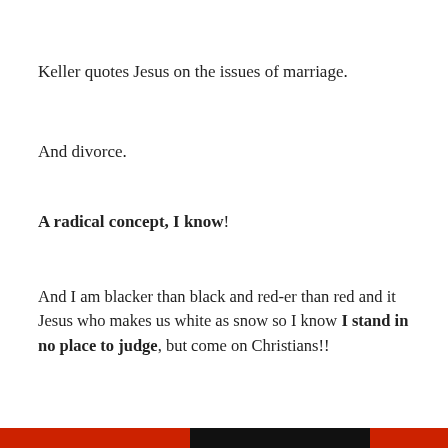Keller quotes Jesus on the issues of marriage.
And divorce.
A radical concept, I know!
And I am blacker than black and red-er than red and it Jesus who makes us white as snow so I know I stand in no place to judge, but come on Christians!!
If you’re going to quote Jesus, and lecture me on the laws
Privacy & Cookies: This site uses cookies. By continuing to use this website, you agree to their use.
To find out more, including how to control cookies, see here: Cookie Policy
Close and accept